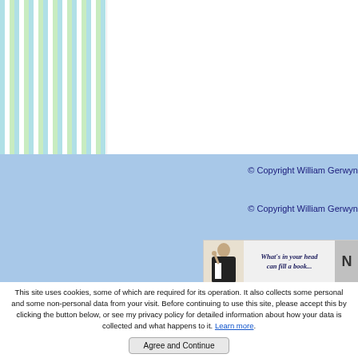[Figure (illustration): Vertical candy stripes in light blue, white, and light green on the left panel of the page]
© Copyright William Gerwyn
© Copyright William Gerwyn
[Figure (illustration): Advertisement banner showing a person in black jacket with text 'What's in your head can fill a book...' and partial letter M on right]
This site uses cookies, some of which are required for its operation. It also collects some personal and some non-personal data from your visit. Before continuing to use this site, please accept this by clicking the button below, or see my privacy policy for detailed information about how your data is collected and what happens to it. Learn more.
Agree and Continue